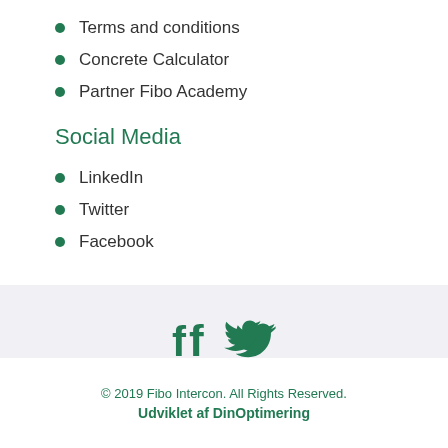Terms and conditions
Concrete Calculator
Partner Fibo Academy
Social Media
LinkedIn
Twitter
Facebook
[Figure (other): Facebook and Twitter social media icons in teal/green color]
© 2019 Fibo Intercon. All Rights Reserved.
Udviklet af DinOptimering